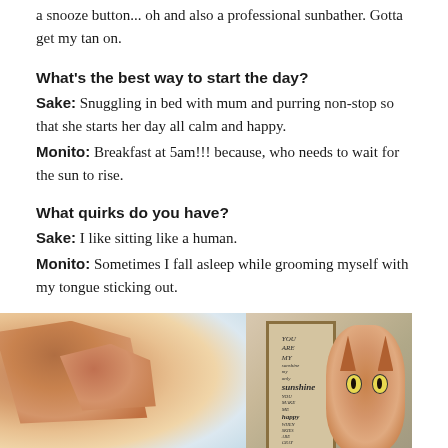a snooze button... oh and also a professional sunbather. Gotta get my tan on.
What's the best way to start the day?
Sake: Snuggling in bed with mum and purring non-stop so that she starts her day all calm and happy.
Monito: Breakfast at 5am!!! because, who needs to wait for the sun to rise.
What quirks do you have?
Sake: I like sitting like a human.
Monito: Sometimes I fall asleep while grooming myself with my tongue sticking out.
[Figure (photo): Close-up photo of a cat's ear, orange tabby fur, warm tones]
[Figure (photo): Orange tabby cat sitting next to a framed 'You Are My Sunshine' sign, looking at camera]